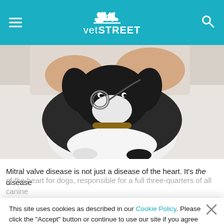vetSTREET
[Figure (photo): A veterinarian examining a black and white dog (Boston Terrier or similar) with a stethoscope on an examination table.]
Mitral valve disease is not just a disease of the heart. It's the disease of the heart for dogs, responsible for a full three-quarters of all canine heart disease. It's caused by a degenerative process that thickens and distorts the mitral valve, causing it to leak. The disease generally progresses slowly, but eventually a dog's heart can no longer keep up. Treatment generally includes medications to help control the disease and maintain quality of life, regardless of diet. However, diet can also be an exciting area
This site uses cookies as described in our Cookie Policy. Please click the "Accept" button or continue to use our site if you agree to our use of cookies.
Accept